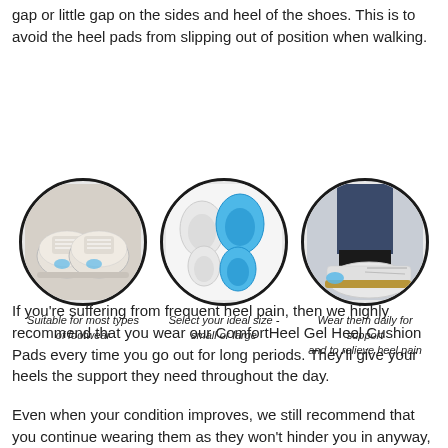gap or little gap on the sides and heel of the shoes. This is to avoid the heel pads from slipping out of position when walking.
[Figure (illustration): Three circular images showing: 1) A pair of white sneakers with heel pad visible inside (Suitable for most types of footwear), 2) Four gel heel cushion pads in white and blue sizes (Select your ideal size - small or large), 3) A person wearing shoes with a gel heel pad visible from the side (Wear them daily for support and to relieve heel pain).]
Suitable for most types of footwear
Select your ideal size - small or large
Wear them daily for support and to relieve heel pain
If you're suffering from frequent heel pain, then we highly recommend that you wear our ComfortHeel Gel Heel Cushion Pads every time you go out for long periods. They'll give your heels the support they need throughout the day.
Even when your condition improves, we still recommend that you continue wearing them as they won't hinder you in anyway,